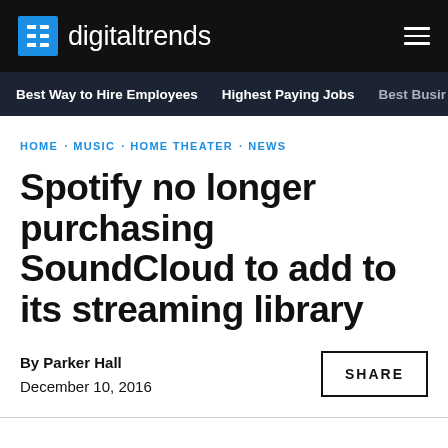digitaltrends
Best Way to Hire Employees · Highest Paying Jobs · Best Busin
HOME · MUSIC · HOME THEATER · NEWS
Spotify no longer purchasing SoundCloud to add to its streaming library
By Parker Hall
December 10, 2016